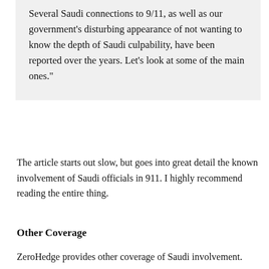Several Saudi connections to 9/11, as well as our government's disturbing appearance of not wanting to know the depth of Saudi culpability, have been reported over the years. Let's look at some of the main ones."
The article starts out slow, but goes into great detail the known involvement of Saudi officials in 911. I highly recommend reading the entire thing.
Other Coverage
ZeroHedge provides other coverage of Saudi involvement.